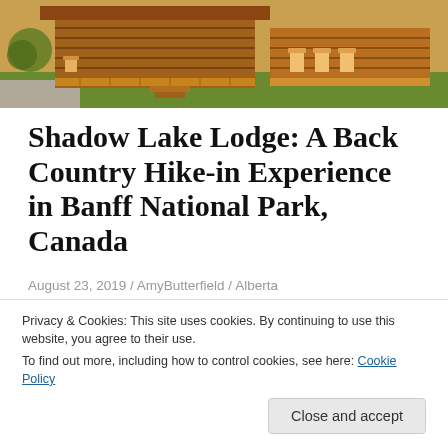[Figure (photo): Photograph of log cabin / wooden lodge structure with deck and chairs, surrounded by green grass and gravel path]
Shadow Lake Lodge: A Back Country Hike-in Experience in Banff National Park, Canada
August 23, 2019 / AmyButterfield / Alberta
Deep in the heart of world renowned Banff National Park, nestled among the majestic peaks of the Rocky
Privacy & Cookies: This site uses cookies. By continuing to use this website, you agree to their use.
To find out more, including how to control cookies, see here: Cookie Policy
Close and accept